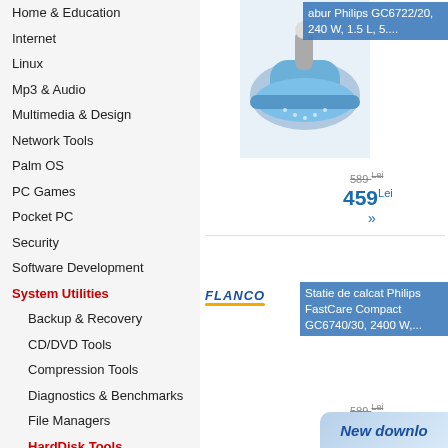Home & Education
Internet
Linux
Mp3 & Audio
Multimedia & Design
Network Tools
Palm OS
PC Games
Pocket PC
Security
Software Development
System Utilities
Backup & Recovery
CD/DVD Tools
Compression Tools
Diagnostics & Benchmarks
File Managers
HardDisk Tools
Internet Tools
Kernels
Launchers & Shutdown Tools
Mobile Phone Tools
Network Tools
OS Enhancements
Other Tools
Printing
[Figure (screenshot): Product listing showing two ironing stations with prices. Product 1: Fier de calcat abur Philips GC6722/20, 240 W, 1.5 L, 5.... Old price: 589 Lei, Price: 459 Lei. Product 2 (Flanco): Statie de calcat Philips FastCare Compact GC6740/30, 2400 W,... Old price: 589 Lei, Price: 519 Lei.]
New downlo